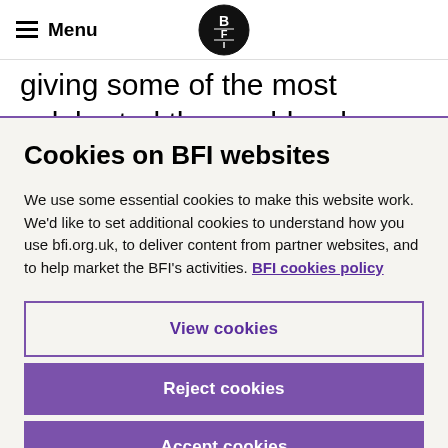Menu | BFI
giving some of the most celebrated thoroughbreds a run for their money. On paper it shouldn't work. In real life it did, and retelling it on screen makes for a
Cookies on BFI websites
We use some essential cookies to make this website work. We'd like to set additional cookies to understand how you use bfi.org.uk, to deliver content from partner websites, and to help market the BFI's activities. BFI cookies policy